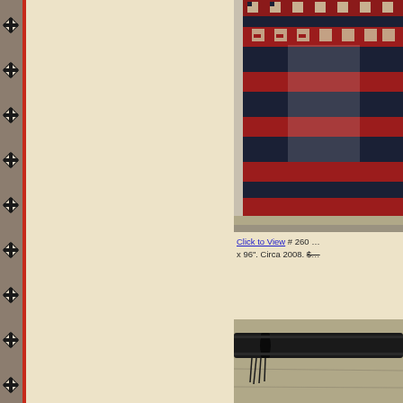[Figure (illustration): Decorative Native American / Southwestern style border strip with repeating diamond cross motifs on grey/tan background with red vertical stripe]
[Figure (photo): Navajo-style woven rug with geometric Greek key / meander pattern in navy blue, red, and tan/cream colors, photographed hanging or laid flat]
Click to View # 260 … x 96". Circa 2008. $…
[Figure (photo): Close-up photo of a dark colored leather or textile item, possibly a rug hanger or rod, on a wooden surface]